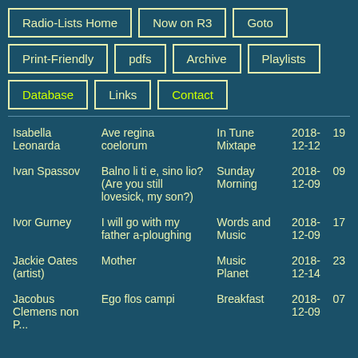Radio-Lists Home
Now on R3
Goto
Print-Friendly
pdfs
Archive
Playlists
Database
Links
Contact
| Artist | Title | Programme | Date |  |
| --- | --- | --- | --- | --- |
| Isabella Leonarda | Ave regina coelorum | In Tune Mixtape | 2018-12-12 | 19 |
| Ivan Spassov | Balno li ti e, sino lio? (Are you still lovesick, my son?) | Sunday Morning | 2018-12-09 | 09 |
| Ivor Gurney | I will go with my father a-ploughing | Words and Music | 2018-12-09 | 17 |
| Jackie Oates (artist) | Mother | Music Planet | 2018-12-14 | 23 |
| Jacobus Clemens non Papa | Ego flos campi | Breakfast | 2018-12-09 | 07 |